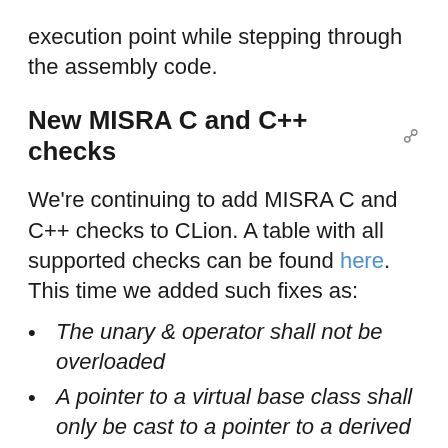execution point while stepping through the assembly code.
New MISRA C and C++ checks 🔗
We're continuing to add MISRA C and C++ checks to CLion. A table with all supported checks can be found here. This time we added such fixes as:
The unary & operator shall not be overloaded
A pointer to a virtual base class shall only be cast to a pointer to a derived class by